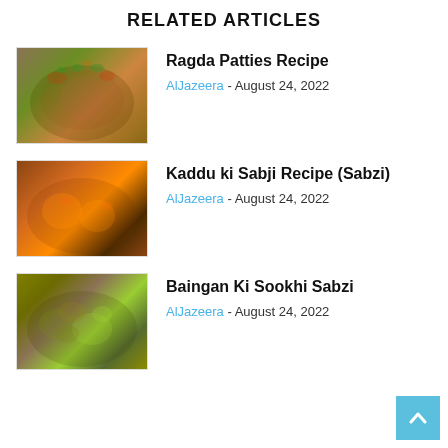RELATED ARTICLES
[Figure (photo): Food photo: Ragda Patties dish in a bowl with garnish]
Ragda Patties Recipe
AlJazeera - August 24, 2022
[Figure (photo): Food photo: Kaddu ki Sabji in a pan with spices]
Kaddu ki Sabji Recipe (Sabzi)
AlJazeera - August 24, 2022
[Figure (photo): Food photo: Baingan Ki Sookhi Sabzi with green garnish]
Baingan Ki Sookhi Sabzi
AlJazeera - August 24, 2022